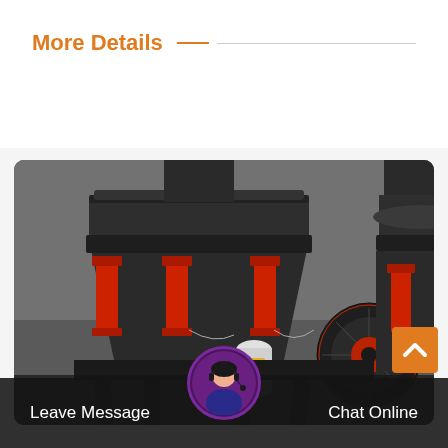More Details
[Figure (photo): Industrial cone crusher machinery with large gray metal body, red hydraulic cylinders, a flywheel with red accents, and geared rings at the top. Two cone crushers visible side by side in what appears to be a manufacturing or industrial facility.]
Leave Message
Chat Online